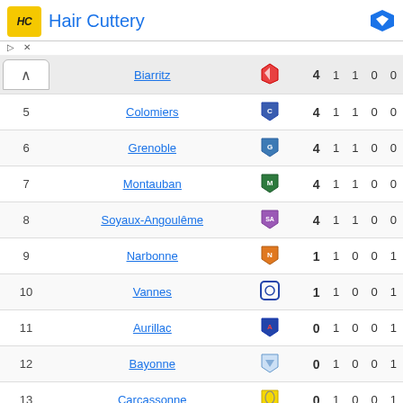[Figure (logo): Hair Cuttery advertisement banner with yellow HC logo and blue title text]
| # | Team | Logo | Pts | P | W | D | L |
| --- | --- | --- | --- | --- | --- | --- | --- |
|  | Biarritz |  | 4 | 1 | 1 | 0 | 0 |
| 5 | Colomiers |  | 4 | 1 | 1 | 0 | 0 |
| 6 | Grenoble |  | 4 | 1 | 1 | 0 | 0 |
| 7 | Montauban |  | 4 | 1 | 1 | 0 | 0 |
| 8 | Soyaux-Angoulême |  | 4 | 1 | 1 | 0 | 0 |
| 9 | Narbonne |  | 1 | 1 | 0 | 0 | 1 |
| 10 | Vannes |  | 1 | 1 | 0 | 0 | 1 |
| 11 | Aurillac |  | 0 | 1 | 0 | 0 | 1 |
| 12 | Bayonne |  | 0 | 1 | 0 | 0 | 1 |
| 13 | Carcassonne |  | 0 | 1 | 0 | 0 | 1 |
| 14 | Dax |  | 0 | 1 | 0 | 0 | 1 |
| 15 | Mont-de-Marsan |  | 0 | 1 | 0 | 0 | 1 |
| 16 | Nevers |  | 0 | 1 | 0 | 0 | 1 |